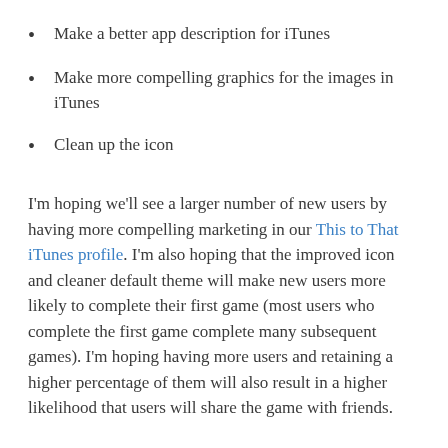Make a better app description for iTunes
Make more compelling graphics for the images in iTunes
Clean up the icon
I'm hoping we'll see a larger number of new users by having more compelling marketing in our This to That iTunes profile. I'm also hoping that the improved icon and cleaner default theme will make new users more likely to complete their first game (most users who complete the first game complete many subsequent games). I'm hoping having more users and retaining a higher percentage of them will also result in a higher likelihood that users will share the game with friends.
There was a slight drop in retention after we released the multiplayer version of This to That. I think that users were frustrated when they tried to